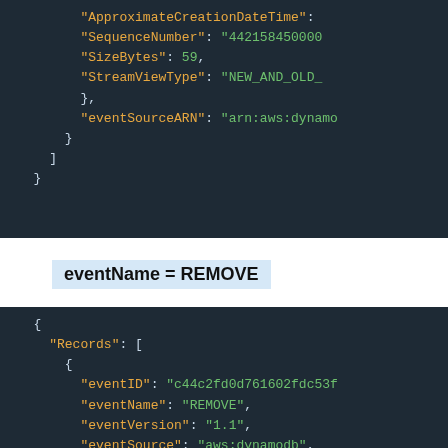[Figure (screenshot): Dark-themed code block showing JSON snippet with keys ApproximateCreationDateTime, SequenceNumber (value 442158450000...), SizeBytes (59), StreamViewType (NEW_AND_OLD_...), eventSourceARN (arn:aws:dynamo...), closing braces and bracket.]
eventName = REMOVE
[Figure (screenshot): Dark-themed code block showing JSON snippet: { Records: [ { eventID: c44c2fd0d761602fdc53f..., eventName: REMOVE, eventVersion: 1.1, eventSource: aws:dynamodb, awsRegion: ap-northeast-2, dynamodb: {]